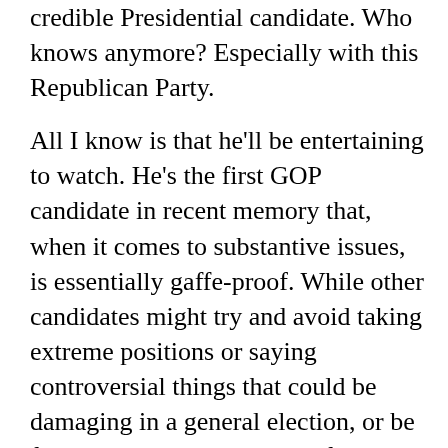credible Presidential candidate. Who knows anymore? Especially with this Republican Party.
All I know is that he'll be entertaining to watch. He's the first GOP candidate in recent memory that, when it comes to substantive issues, is essentially gaffe-proof. While other candidates might try and avoid taking extreme positions or saying controversial things that could be damaging in a general election, or be forced into doing all kinds of verbal jiu-jitsu to explain their voting records to Tea Partiers that don't care about what it takes to get stuff done in Washington, Cruz (assuming he remains true to form) doesn't care about any of that.
Even Rick Santorum, by virtue of the fact he was part of the GOP Senate leadership while in Washington, had to answer his record that the tea partiers that...